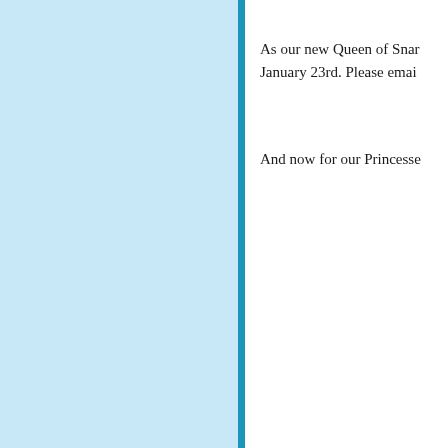As our new Queen of Snar January 23rd. Please emai
And now for our Princesse